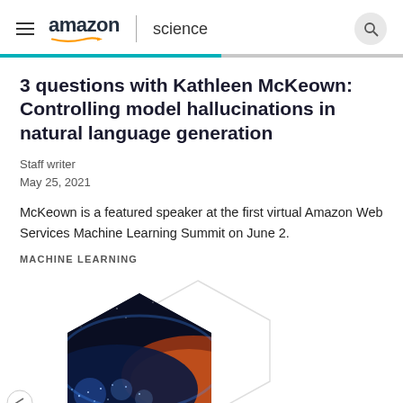amazon science
3 questions with Kathleen McKeown: Controlling model hallucinations in natural language generation
Staff writer
May 25, 2021
McKeown is a featured speaker at the first virtual Amazon Web Services Machine Learning Summit on June 2.
MACHINE LEARNING
[Figure (illustration): Hexagonal framed image of Earth from space with glowing city lights, overlaid on a lighter hexagonal outline shape, partially visible at the bottom of the page.]